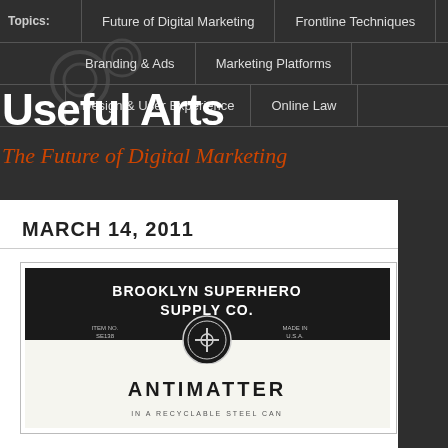Topics: | Future of Digital Marketing | Frontline Techniques | Branding & Ads | Marketing Platforms | Design & User Experience | Online Law
Useful Arts
The Future of Digital Marketing
MARCH 14, 2011
[Figure (photo): Brooklyn Superhero Supply Co. can of Antimatter in a recyclable steel can]